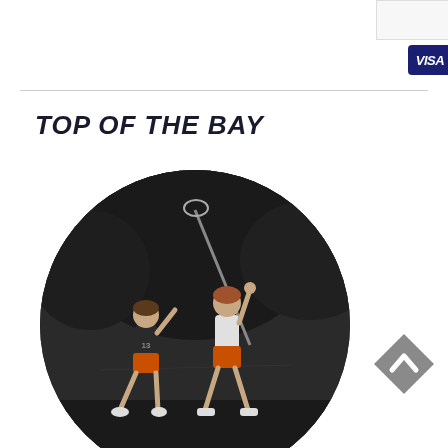[Figure (screenshot): Pay with PayPal button with accepted credit card logos: VISA, Mastercard, AMEX, DISCOVER]
TOP OF THE BAY
[Figure (photo): Circular cropped black and white photo of two women lacrosse players jumping for the ball, wearing orange shorts, with trees in the background]
[Figure (other): Gray diamond-shaped scroll-to-top button with upward chevron arrow]